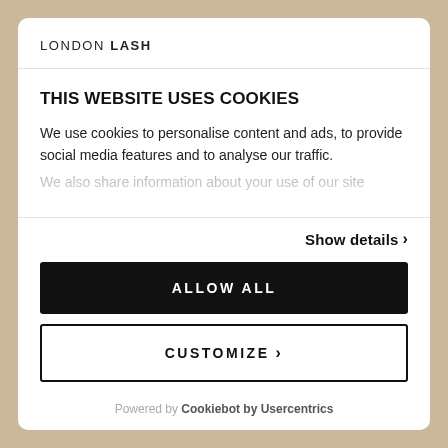LONDON LASH
THIS WEBSITE USES COOKIES
We use cookies to personalise content and ads, to provide social media features and to analyse our traffic. We also share information about your use of our site
Show details ›
ALLOW ALL
CUSTOMIZE ›
Powered by Cookiebot by Usercentrics